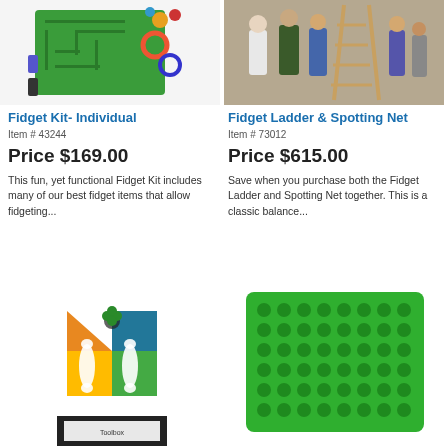[Figure (photo): Fidget Kit product image showing colorful fidget items on a green maze mat]
[Figure (photo): Fidget Ladder and Spotting Net product image showing children using the equipment outdoors]
Fidget Kit- Individual
Item # 43244
Price $169.00
This fun, yet functional Fidget Kit includes many of our best fidget items that allow fidgeting...
Fidget Ladder & Spotting Net
Item # 73012
Price $615.00
Save when you purchase both the Fidget Ladder and Spotting Net together. This is a classic balance...
[Figure (photo): Box packaging product with colorful triangular sections in orange, blue, and green with clover design]
[Figure (photo): Green plastic sensory board/mat with rows of round bumps/studs]